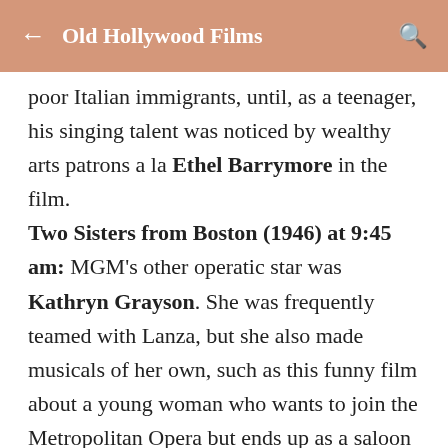← Old Hollywood Films 🔍
poor Italian immigrants, until, as a teenager, his singing talent was noticed by wealthy arts patrons a la Ethel Barrymore in the film. Two Sisters from Boston (1946) at 9:45 am: MGM's other operatic star was Kathryn Grayson. She was frequently teamed with Lanza, but she also made musicals of her own, such as this funny film about a young woman who wants to join the Metropolitan Opera but ends up as a saloon singer. Two Girls and a Sailor (1944) at 11:45 am: June Allyson brought her particular brand of perkiness to several MGM musicals in the 1940s, including